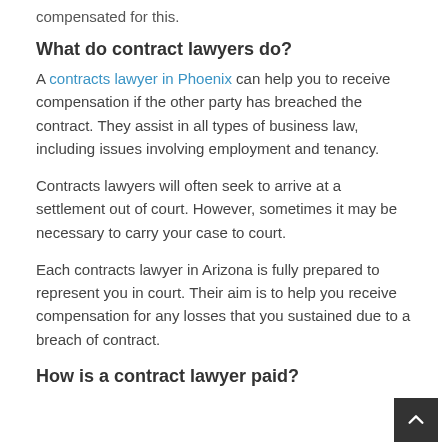compensated for this.
What do contract lawyers do?
A contracts lawyer in Phoenix can help you to receive compensation if the other party has breached the contract. They assist in all types of business law, including issues involving employment and tenancy.
Contracts lawyers will often seek to arrive at a settlement out of court. However, sometimes it may be necessary to carry your case to court.
Each contracts lawyer in Arizona is fully prepared to represent you in court. Their aim is to help you receive compensation for any losses that you sustained due to a breach of contract.
How is a contract lawyer paid?